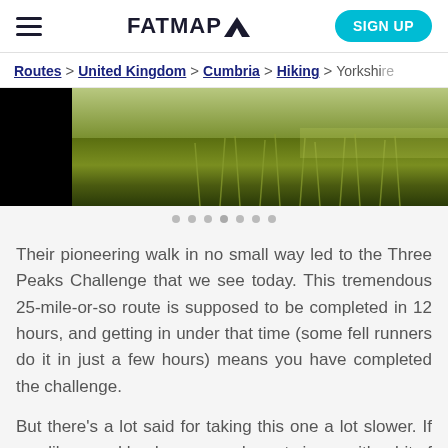FATMAP (logo) | hamburger menu | SIGN UP
Routes > United Kingdom > Cumbria > Hiking > Yorkshire
[Figure (photo): A landscape photo strip showing green grass/moorland with a dark black background on either side, partially cropped.]
Their pioneering walk in no small way led to the Three Peaks Challenge that we see today. This tremendous 25-mile-or-so route is supposed to be completed in 12 hours, and getting in under that time (some fell runners do it in just a few hours) means you have completed the challenge.
But there's a lot said for taking this one a lot slower. If you like grand landscapes and great views, with a bit of ascent in your legs, then it's not to be missed.